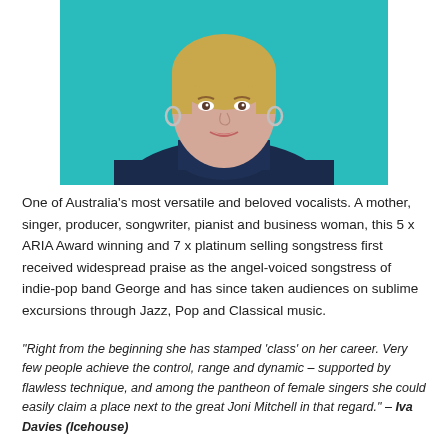[Figure (photo): Portrait photo of a woman with short blonde hair wearing a dark navy turtleneck top, photographed against a teal/turquoise background. She is smiling slightly and wearing hoop earrings.]
One of Australia's most versatile and beloved vocalists. A mother, singer, producer, songwriter, pianist and business woman, this 5 x ARIA Award winning and 7 x platinum selling songstress first received widespread praise as the angel-voiced songstress of indie-pop band George and has since taken audiences on sublime excursions through Jazz, Pop and Classical music.
“Right from the beginning she has stamped ‘class’ on her career. Very few people achieve the control, range and dynamic – supported by flawless technique, and among the pantheon of female singers she could easily claim a place next to the great Joni Mitchell in that regard.” – Iva Davies (Icehouse)